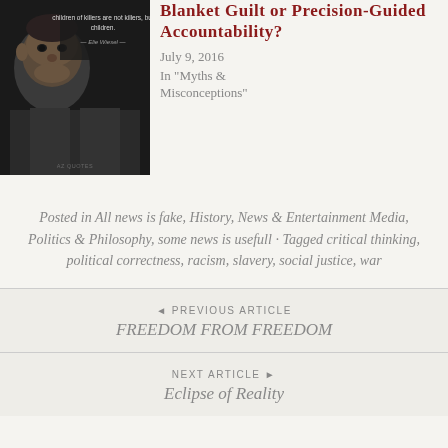[Figure (photo): Dark background image with a man's face and quote text: 'children of killers are not killers, but children.' — Elie Wiesel — AZ QUOTES]
Blanket Guilt or Precision-Guided Accountability?
July 9, 2016
In "Myths & Misconceptions"
Posted in All news is fake, History, News & Entertainment Media, Politics & Philosophy, some news is usefull · Tagged critical thinking, political correctness, racism, slavery, social justice, war
◄ PREVIOUS ARTICLE
FREEDOM FROM FREEDOM
NEXT ARTICLE ►
Eclipse of Reality